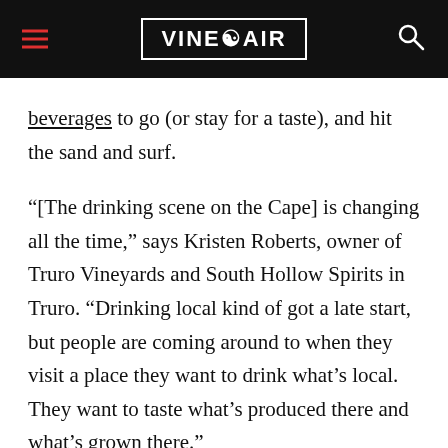VINEPAIR
beverages to go (or stay for a taste), and hit the sand and surf.
“[The drinking scene on the Cape] is changing all the time,” says Kristen Roberts, owner of Truro Vineyards and South Hollow Spirits in Truro. “Drinking local kind of got a late start, but people are coming around to when they visit a place they want to drink what’s local. They want to taste what’s produced there and what’s grown there.”